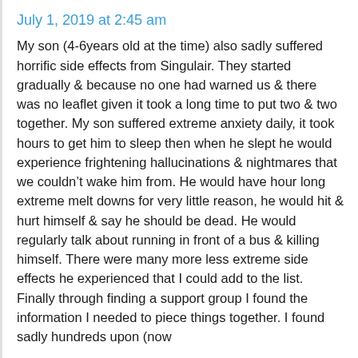July 1, 2019 at 2:45 am
My son (4-6years old at the time) also sadly suffered horrific side effects from Singulair. They started gradually & because no one had warned us & there was no leaflet given it took a long time to put two & two together. My son suffered extreme anxiety daily, it took hours to get him to sleep then when he slept he would experience frightening hallucinations & nightmares that we couldn't wake him from. He would have hour long extreme melt downs for very little reason, he would hit & hurt himself & say he should be dead. He would regularly talk about running in front of a bus & killing himself. There were many more less extreme side effects he experienced that I could add to the list. Finally through finding a support group I found the information I needed to piece things together. I found sadly hundreds upon (now